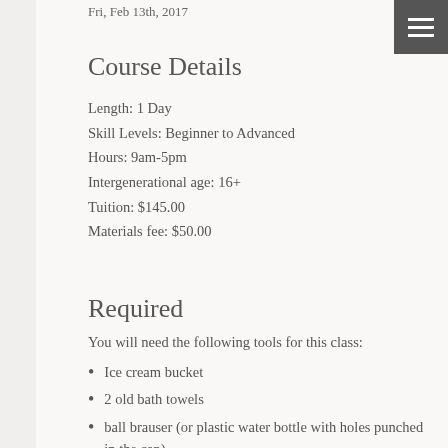Fri, Feb 13th, 2017
Course Details
Length: 1 Day
Skill Levels: Beginner to Advanced
Hours: 9am-5pm
Intergenerational age: 16+
Tuition: $145.00
Materials fee: $50.00
Required
You will need the following tools for this class:
Ice cream bucket
2 old bath towels
ball brauser (or plastic water bottle with holes punched in the cap)